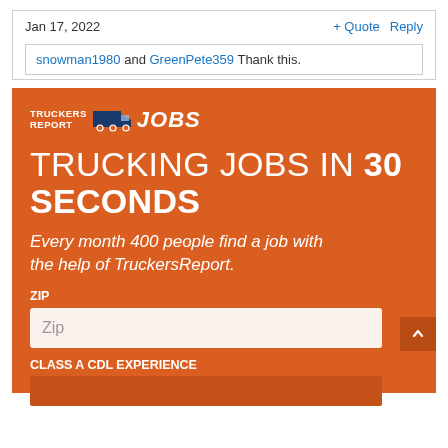Jan 17, 2022
+ Quote   Reply
snowman1980 and GreenPete359 Thank this.
[Figure (infographic): TruckersReport Jobs advertisement banner with orange background. Contains logo 'TRUCKERS REPORT JOBS', headline 'TRUCKING JOBS IN 30 SECONDS', subtitle 'Every month 400 people find a job with the help of TruckersReport.', a ZIP input field, and a CLASS A CDL EXPERIENCE label.]